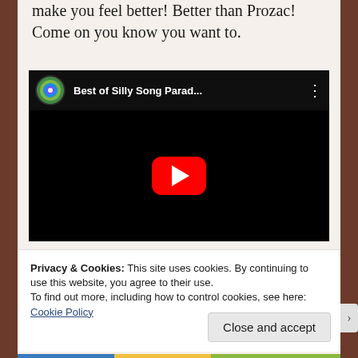make you feel better! Better than Prozac! Come on you know you want to.
[Figure (screenshot): Embedded YouTube video player showing 'Best of Silly Song Parad...' with a circular green/blue logo, three-dot menu, black video area, and red YouTube play button in center.]
Privacy & Cookies: This site uses cookies. By continuing to use this website, you agree to their use.
To find out more, including how to control cookies, see here: Cookie Policy
Close and accept